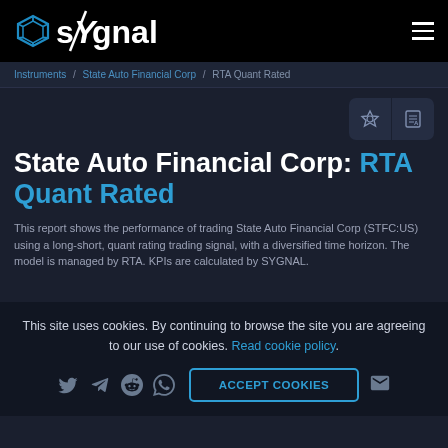sYgnal
Instruments / State Auto Financial Corp / RTA Quant Rated
State Auto Financial Corp: RTA Quant Rated
This report shows the performance of trading State Auto Financial Corp (STFC:US) using a long-short, quant rating trading signal, with a diversified time horizon. The model is managed by RTA. KPIs are calculated by SYGNAL.
This site uses cookies. By continuing to browse the site you are agreeing to our use of cookies. Read cookie policy.